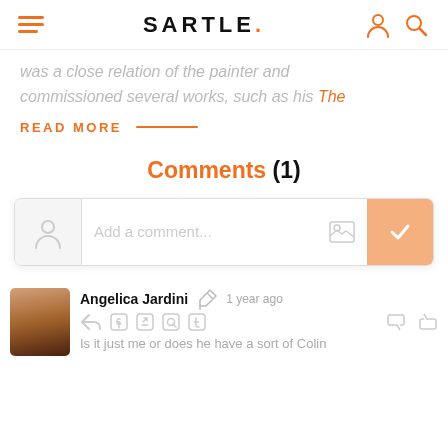SARTLE.
was a close relation of the painter and commissioned several works, such as his The
READ MORE
Comments (1)
Add a comment...
Angelica Jardini   1 year ago
Is it just me or does he have a sort of Colin